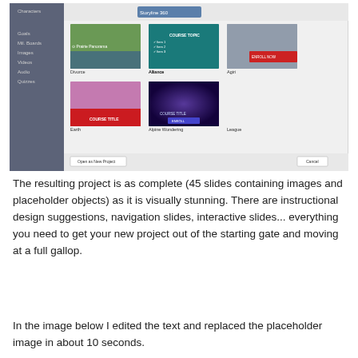[Figure (screenshot): A software interface screenshot showing a course template selection dialog. Left panel shows navigation items (Characters, Goals, Mil.Boards, Images, Videos, Audio, Quizzes). Main area shows thumbnail previews of course templates labeled: Divorce, Alliance, Agiri (top row); Earth, Alpine Wondering, League (middle row); Rhapsody, Illuse (bottom row). Bottom bar shows 'Open as New Project' and 'Cancel' buttons.]
The resulting project is as complete (45 slides containing images and placeholder objects) as it is visually stunning. There are instructional design suggestions, navigation slides, interactive slides... everything you need to get your new project out of the starting gate and moving at a full gallop.
In the image below I edited the text and replaced the placeholder image in about 10 seconds.